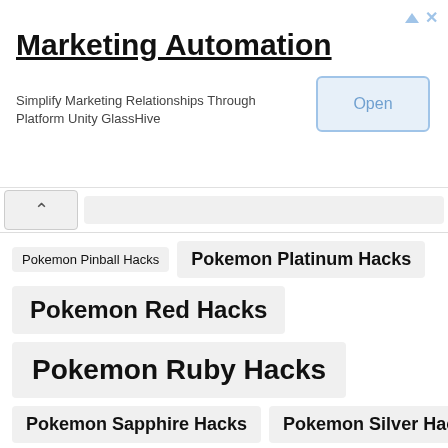[Figure (infographic): Advertisement banner for Marketing Automation - GlassHive. Title: Marketing Automation. Subtitle: Simplify Marketing Relationships Through Platform Unity GlassHive. Button: Open.]
Pokemon Pinball Hacks
Pokemon Platinum Hacks
Pokemon Red Hacks
Pokemon Ruby Hacks
Pokemon Sapphire Hacks
Pokemon Silver Hacks
Pokemon Soul Silver Hacks
Pokemon Stadium Hacks
Pokemon Trading Card Game Hacks
Pokemon White 2 Hacks
Pokemon White Hacks
Pokemon Yellow Hacks
Portugal Hacks
Portuguese Hacks